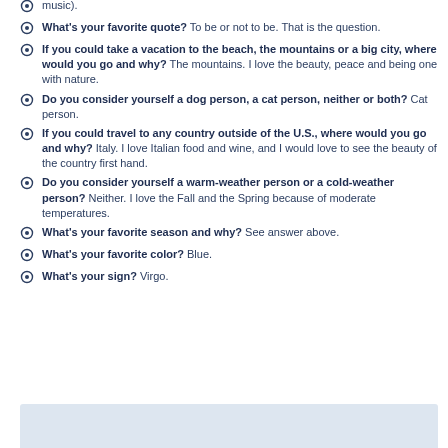What's your favorite quote? To be or not to be. That is the question.
If you could take a vacation to the beach, the mountains or a big city, where would you go and why? The mountains. I love the beauty, peace and being one with nature.
Do you consider yourself a dog person, a cat person, neither or both? Cat person.
If you could travel to any country outside of the U.S., where would you go and why? Italy. I love Italian food and wine, and I would love to see the beauty of the country first hand.
Do you consider yourself a warm-weather person or a cold-weather person? Neither. I love the Fall and the Spring because of moderate temperatures.
What's your favorite season and why? See answer above.
What's your favorite color? Blue.
What's your sign? Virgo.